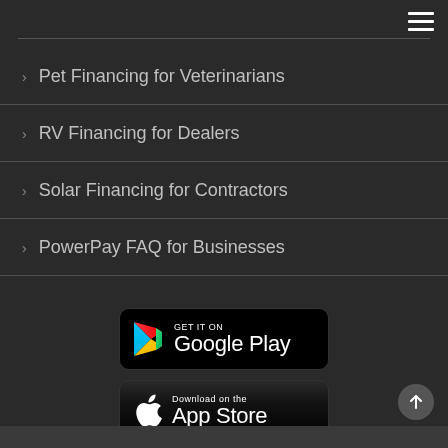Pet Financing for Veterinarians
RV Financing for Dealers
Solar Financing for Contractors
PowerPay FAQ for Businesses
[Figure (logo): GET IT ON Google Play badge]
[Figure (logo): Download on the App Store badge]